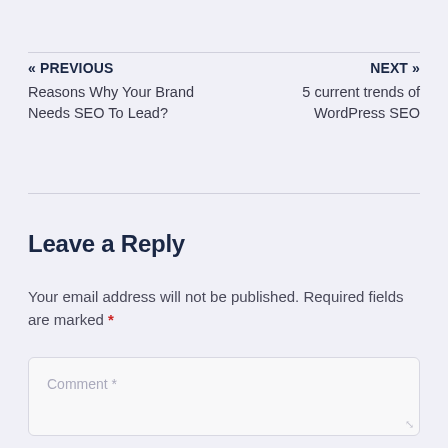« PREVIOUS
Reasons Why Your Brand Needs SEO To Lead?
NEXT »
5 current trends of WordPress SEO
Leave a Reply
Your email address will not be published. Required fields are marked *
Comment *